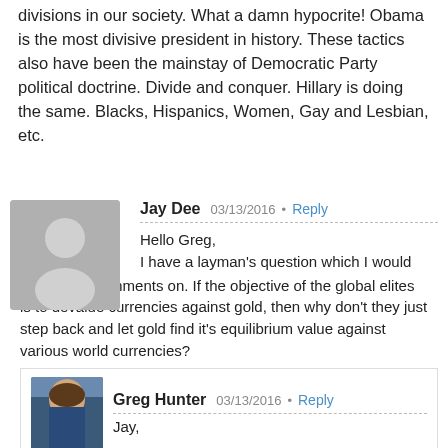divisions in our society. What a damn hypocrite! Obama is the most divisive president in history. These tactics also have been the mainstay of Democratic Party political doctrine. Divide and conquer. Hillary is doing the same. Blacks, Hispanics, Women, Gay and Lesbian, etc.
Jay Dee  03/13/2016  •  Reply
Hello Greg,
I have a layman's question which I would appreciate comments on. If the objective of the global elites is to devalue currencies against gold, then why don't they just step back and let gold find it's equilibrium value against various world currencies?
Greg Hunter  03/13/2016  •  Reply
Jay,